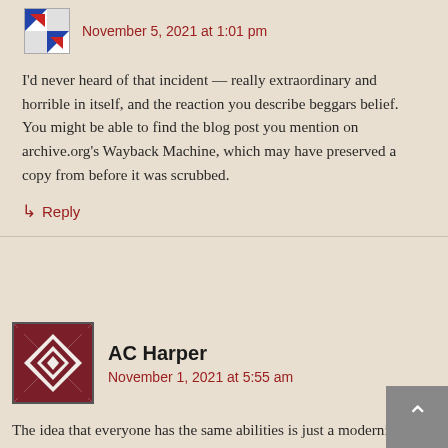November 5, 2021 at 1:01 pm
I'd never heard of that incident — really extraordinary and horrible in itself, and the reaction you describe beggars belief. You might be able to find the blog post you mention on archive.org's Wayback Machine, which may have preserved a copy from before it was scrubbed.
↳  Reply
AC Harper
November 1, 2021 at 5:55 am
The idea that everyone has the same abilities is just a modernised version of the Blank Slate. It follows that *if* the Blank Slate is true then everyone is born equal and any subsequent inequality is the result of evil discrimination.